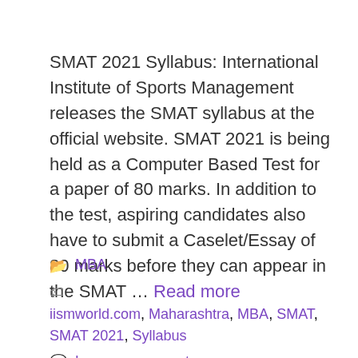SMAT 2021 Syllabus: International Institute of Sports Management releases the SMAT syllabus at the official website. SMAT 2021 is being held as a Computer Based Test for a paper of 80 marks. In addition to the test, aspiring candidates also have to submit a Caselet/Essay of 80 marks before they can appear in the SMAT … Read more
MBA
iismworld.com, Maharashtra, MBA, SMAT, SMAT 2021, Syllabus
Leave a comment